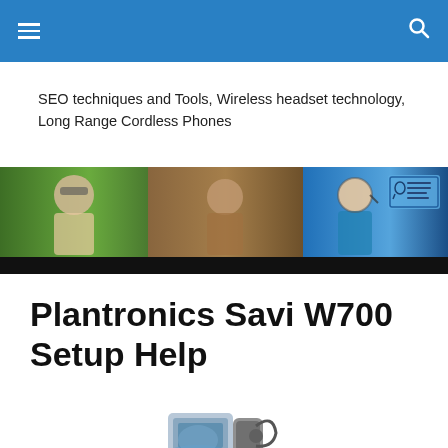SEO techniques and Tools, Wireless headset technology, Long Range Cordless Phones
[Figure (photo): Banner image showing people wearing wireless headsets and a Comfort Telecommunications Canada Inc. logo on blue background]
Plantronics Savi W700 Setup Help
[Figure (photo): Partial product image of Plantronics Savi W700 headset system at bottom of page]